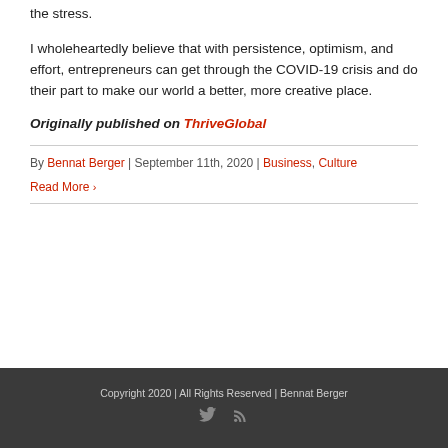the stress.
I wholeheartedly believe that with persistence, optimism, and effort, entrepreneurs can get through the COVID-19 crisis and do their part to make our world a better, more creative place.
Originally published on ThriveGlobal
By Bennat Berger | September 11th, 2020 | Business, Culture
Read More >
Copyright 2020 | All Rights Reserved | Bennat Berger